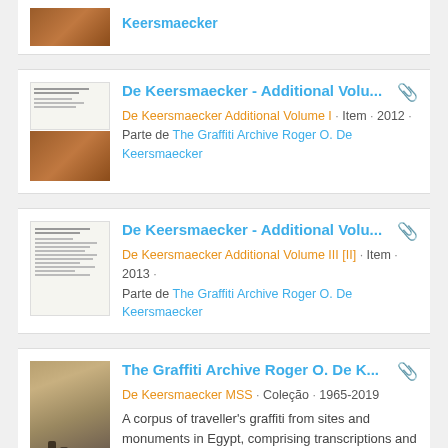[Figure (photo): Thumbnail image of a document with brown/orange graffiti photo, partially cut off at top]
Keersmaecker (link, partially visible at top)
[Figure (photo): Thumbnail showing a document with text lines and a brown stone/rock graffiti photograph]
De Keersmaecker - Additional Volu...
De Keersmaecker Additional Volume I · Item · 2012 · Parte de The Graffiti Archive Roger O. De Keersmaecker
[Figure (photo): Thumbnail showing a document with small text lines, no photo inset]
De Keersmaecker - Additional Volu...
De Keersmaecker Additional Volume III [II] · Item · 2013 · Parte de The Graffiti Archive Roger O. De Keersmaecker
[Figure (photo): Photograph of graffiti site in Egypt, people standing near stone/rock face]
The Graffiti Archive Roger O. De K...
De Keersmaecker MSS · Coleção · 1965-2019
A corpus of traveller's graffiti from sites and monuments in Egypt, comprising transcriptions and photographs of graffiti that have been